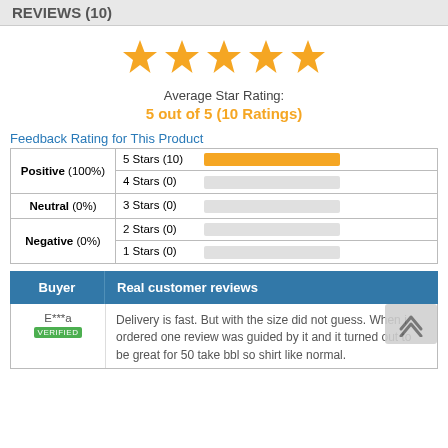REVIEWS (10)
[Figure (other): Five orange star icons representing a 5-star rating]
Average Star Rating:
5 out of 5 (10 Ratings)
Feedback Rating for This Product
| Category | Stars | Bar |
| --- | --- | --- |
| Positive (100%) | 5 Stars (10) | [full orange bar] |
| Positive (100%) | 4 Stars (0) | [empty bar] |
| Neutral (0%) | 3 Stars (0) | [empty bar] |
| Negative (0%) | 2 Stars (0) | [empty bar] |
| Negative (0%) | 1 Stars (0) | [empty bar] |
| Buyer | Real customer reviews |
| --- | --- |
E***a
Delivery is fast. But with the size did not guess. When i ordered one review was guided by it and it turned out to be great for 50 take bbl so shirt like normal.